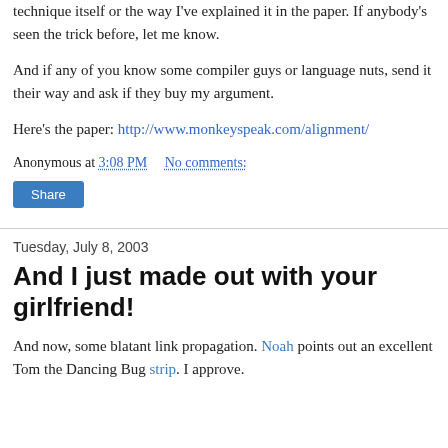technique itself or the way I've explained it in the paper. If anybody's seen the trick before, let me know.
And if any of you know some compiler guys or language nuts, send it their way and ask if they buy my argument.
Here's the paper: http://www.monkeyspeak.com/alignment/
Anonymous at 3:08 PM    No comments:
Share
Tuesday, July 8, 2003
And I just made out with your girlfriend!
And now, some blatant link propagation. Noah points out an excellent Tom the Dancing Bug strip. I approve.